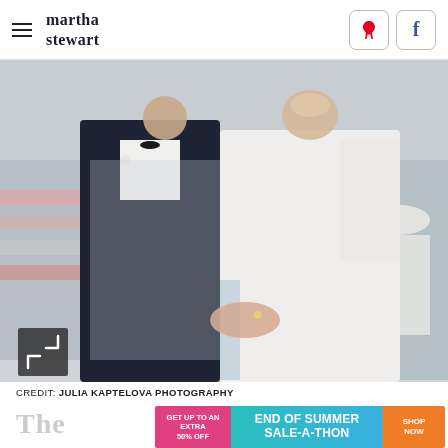martha stewart
[Figure (photo): Wedding ceremony photo showing a groom in a black tuxedo placing a ring on a bride's finger. The bride wears a white gown with sheer long sleeves and a blue sash. Wedding guests are seated in the background.]
CREDIT: JULIA KAPTELOVA PHOTOGRAPHY
[Figure (infographic): Advertisement banner: GET UP TO AN EXTRA 50% OFF | END OF SUMMER SALE-A-THON | SHOP NOW]
The